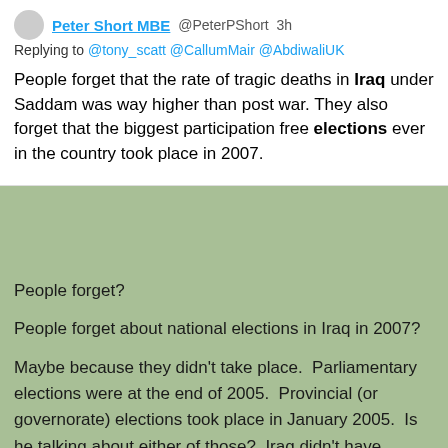Peter Short MBE @PeterPShort 3h
Replying to @tony_scatt @CallumMair @AbdiwaliUK
People forget that the rate of tragic deaths in Iraq under Saddam was way higher than post war. They also forget that the biggest participation free elections ever in the country took place in 2007.
People forget?
People forget about national elections in Iraq in 2007?
Maybe because they didn't take place.  Parliamentary elections were at the end of 2005.  Provincial (or governorate) elections took place in January 2005.  Is he talking about either of those?  Iraq didn't have elections in 2007.